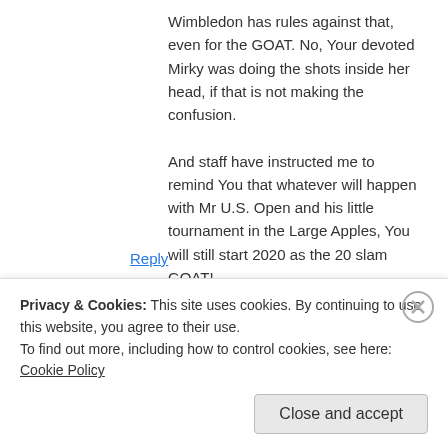Wimbledon has rules against that, even for the GOAT. No, Your devoted Mirky was doing the shots inside her head, if that is not making the confusion.
And staff have instructed me to remind You that whatever will happen with Mr U.S. Open and his little tournament in the Large Apples, You will still start 2020 as the 20 slam GOAT!
Reply
[Figure (photo): Circular avatar photo of pseudofedblog user]
pseudofedblog
July 18, 2019 at 18:07
Privacy & Cookies: This site uses cookies. By continuing to use this website, you agree to their use.
To find out more, including how to control cookies, see here: Cookie Policy
Close and accept